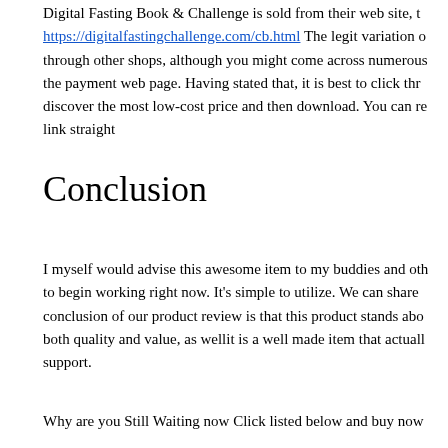Digital Fasting Book & Challenge is sold from their web site, th https://digitalfastingchallenge.com/cb.html The legit variation o through other shops, although you might come across numerous the payment web page. Having stated that, it is best to click thr discover the most low-cost price and then download. You can re link straight
Conclusion
I myself would advise this awesome item to my buddies and oth to begin working right now. It's simple to utilize. We can share conclusion of our product review is that this product stands abo both quality and value, as wellit is a well made item that actuall support.
Why are you Still Waiting now Click listed below and buy now